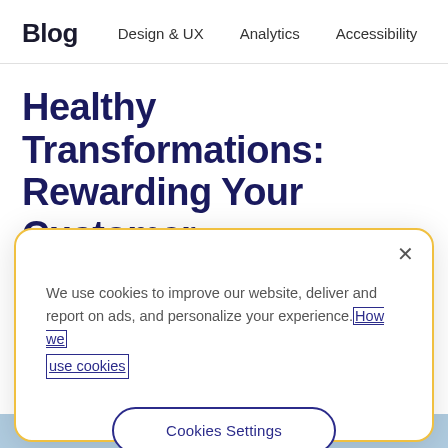Blog  Design & UX  Analytics  Accessibility
Healthy Transformations: Rewarding Your Customer Experience with a Direct to Consumer Approach
We use cookies to improve our website, deliver and report on ads, and personalize your experience. How we use cookies
Cookies Settings